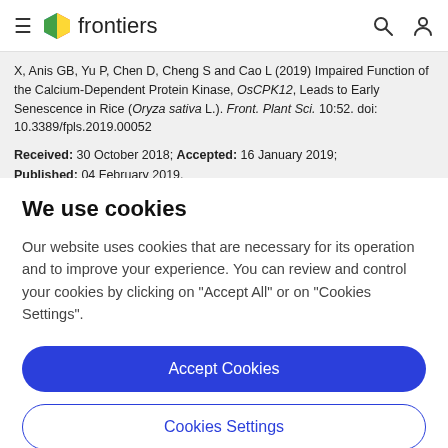frontiers
X, Anis GB, Yu P, Chen D, Cheng S and Cao L (2019) Impaired Function of the Calcium-Dependent Protein Kinase, OsCPK12, Leads to Early Senescence in Rice (Oryza sativa L.). Front. Plant Sci. 10:52. doi: 10.3389/fpls.2019.00052
Received: 30 October 2018; Accepted: 16 January 2019; Published: 04 February 2019.
We use cookies
Our website uses cookies that are necessary for its operation and to improve your experience. You can review and control your cookies by clicking on "Accept All" or on "Cookies Settings".
Accept Cookies
Cookies Settings